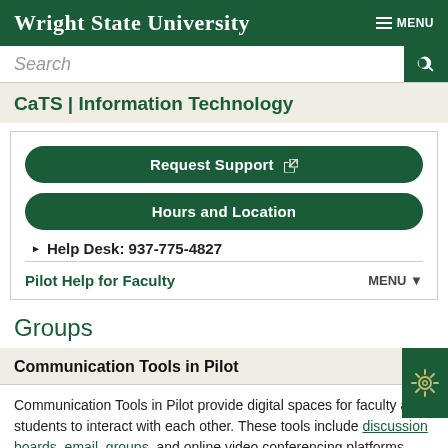Wright State University — MENU
Search
CaTS | Information Technology
Request Support
Hours and Location
Help Desk: 937-775-4827
Pilot Help for Faculty — MENU
Groups
Communication Tools in Pilot
Communication Tools in Pilot provide digital spaces for faculty and students to interact with each other. These tools include discussion boards, email, groups, and online video conferencing platforms.